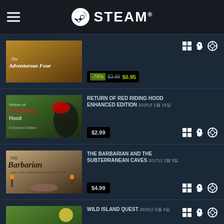STEAM
[Figure (screenshot): Game thumbnail for The Adventurous Four]
-76% $3.99 $0.95
[Figure (screenshot): Game thumbnail for Return of Red Riding Hood Enhanced Edition]
RETURN OF RED RIDING HOOD ENHANCED EDITION 2018년 1월 19일
$2.99
[Figure (screenshot): Game thumbnail for The Barbarian and the Subterranean Caves]
THE BARBARIAN AND THE SUBTERRANEAN CAVES 2017년 2월 9일
$4.99
[Figure (screenshot): Game thumbnail for Wild Island Quest]
WILD ISLAND QUEST 2015년 9월 4일
-74% $1.99 $0.51